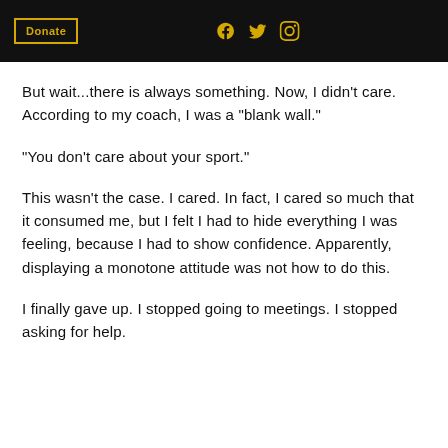Donate [social icons: Facebook, Twitter, Instagram]
But wait...there is always something. Now, I didn’t care. According to my coach, I was a “blank wall.”
“You don’t care about your sport.”
This wasn’t the case. I cared. In fact, I cared so much that it consumed me, but I felt I had to hide everything I was feeling, because I had to show confidence. Apparently, displaying a monotone attitude was not how to do this.
I finally gave up. I stopped going to meetings. I stopped asking for help.